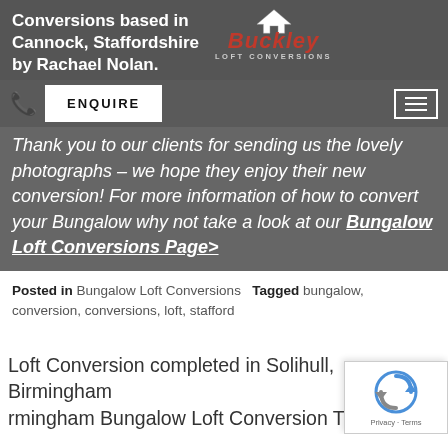Conversions based in Cannock, Staffordshire by Rachael Nolan.
[Figure (logo): Buckley Loft Conversions logo with house icon]
Thank you to our clients for sending us the lovely photographs – we hope they enjoy their new conversion! For more information of how to convert your Bungalow why not take a look at our Bungalow Loft Conversions Page>
Posted in Bungalow Loft Conversions   Tagged bungalow, conversion, conversions, loft, stafford
Loft Conversion completed in Solihull, Birmingham Bungalow Loft Conversion Transform